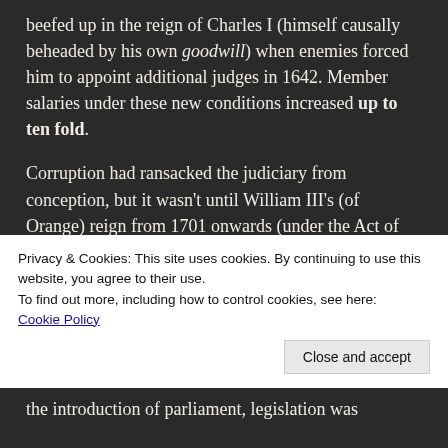beefed up in the reign of Charles I (himself causally beheaded by his own goodwill) when enemies forced him to appoint additional judges in 1642. Member salaries under these new conditions increased up to ten fold.
Corruption had ransacked the judiciary from conception, but it wasn't until William III's (of Orange) reign from 1701 onwards (under the Act of Settlement) that it became impossible for any monarch to suspend or remove a judge without due legal process.1215 saw common law reduced to impotence, and consistent with its draconian mandate, the Magna Carta made
Privacy & Cookies: This site uses cookies. By continuing to use this website, you agree to their use.
To find out more, including how to control cookies, see here: Cookie Policy
the introduction of parliament, legislation was